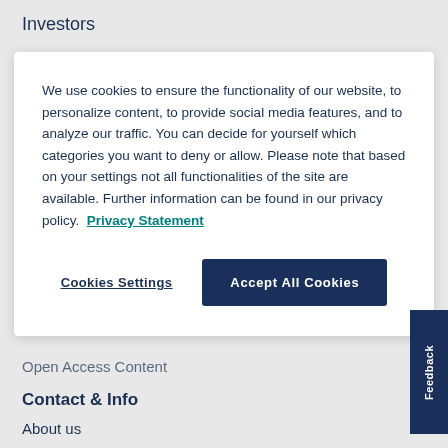Investors
We use cookies to ensure the functionality of our website, to personalize content, to provide social media features, and to analyze our traffic. You can decide for yourself which categories you want to deny or allow. Please note that based on your settings not all functionalities of the site are available. Further information can be found in our privacy policy. Privacy Statement
Cookies Settings
Accept All Cookies
Open Access Content
Contact & Info
About us
Contact us
Sales contacts